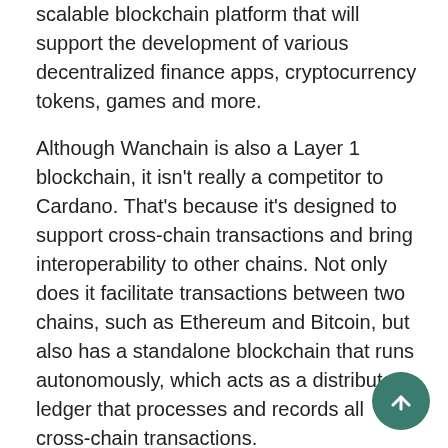scalable blockchain platform that will support the development of various decentralized finance apps, cryptocurrency tokens, games and more.
Although Wanchain is also a Layer 1 blockchain, it isn't really a competitor to Cardano. That's because it's designed to support cross-chain transactions and bring interoperability to other chains. Not only does it facilitate transactions between two chains, such as Ethereum and Bitcoin, but also has a standalone blockchain that runs autonomously, which acts as a distributed ledger that processes and records all cross-chain transactions.
By building a non-custodial bridge between Cardano and Wanchain, Input Output said it will have the effect of marrying Wanchain's cross-chain architecture with its existing community of DeFi projects. In other words, ADA token holders will be able to access DeFi apps hosted on other networks such as Ethereum, and additionally it will all...